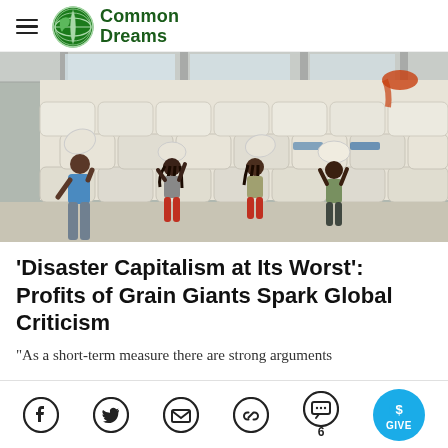Common Dreams
[Figure (photo): Workers carrying large white grain/food aid sacks on their shoulders inside a warehouse stacked high with white sacks of grain.]
'Disaster Capitalism at Its Worst': Profits of Grain Giants Spark Global Criticism
"As a short-term measure there are strong arguments
[Figure (infographic): Social sharing toolbar with Facebook, Twitter, email, link, comment (6), and GIVE button icons]